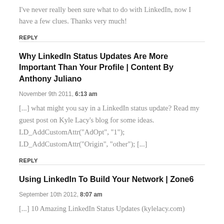I've never really been sure what to do with LinkedIn, now I have a few clues. Thanks very much!
REPLY
Why LinkedIn Status Updates Are More Important Than Your Profile | Content By Anthony Juliano
November 9th 2011, 6:13 am
[...] what might you say in a LinkedIn status update? Read my guest post on Kyle Lacy's blog for some ideas. LD_AddCustomAttr("AdOpt", "1"); LD_AddCustomAttr("Origin", "other"); [...]
REPLY
Using LinkedIn To Build Your Network | Zone6
September 10th 2012, 8:07 am
[...] 10 Amazing LinkedIn Status Updates (kylelacy.com)